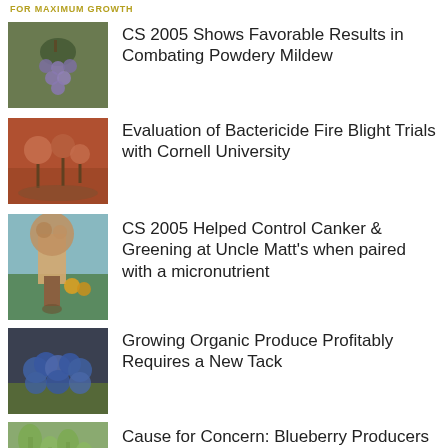FOR MAXIMUM GROWTH
CS 2005 Shows Favorable Results in Combating Powdery Mildew
Evaluation of Bactericide Fire Blight Trials with Cornell University
CS 2005 Helped Control Canker & Greening at Uncle Matt's when paired with a micronutrient
Growing Organic Produce Profitably Requires a New Tack
Cause for Concern: Blueberry Producers Be Wary of Algal Stem Blotch Disease
We Believe In Florida Citrus...